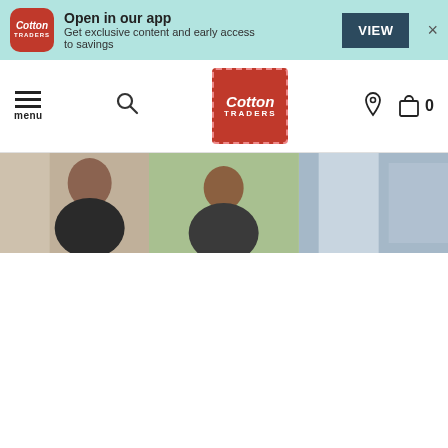[Figure (screenshot): App banner with Cotton Traders logo, Open in our app text, VIEW button, and close X button on teal background]
[Figure (screenshot): Website navigation bar with hamburger menu, search icon, Cotton Traders logo, location pin, and bag icon with 0 count]
[Figure (photo): Three partially visible product/lifestyle photos showing men smiling outdoors]
Cookies
Our site uses cookies to personalise content, analyse traffic and for advertising purposes. By continuing, you agree to use our cookies. To find out more, view our Cookies Policy.
I AGREE